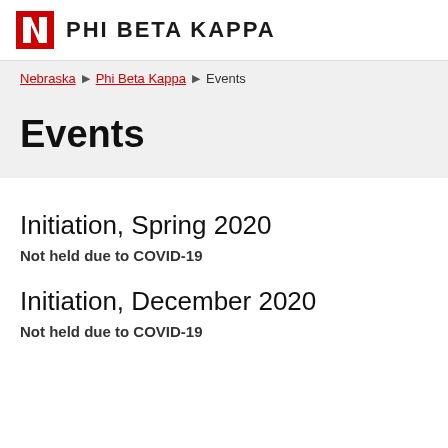PHI BETA KAPPA
Nebraska › Phi Beta Kappa › Events
Events
Initiation, Spring 2020
Not held due to COVID-19
Initiation, December 2020
Not held due to COVID-19